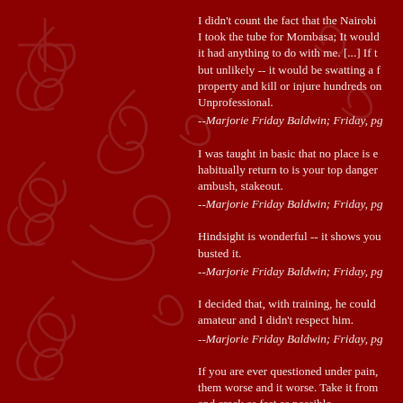I didn't count the fact that the Nairobi I took the tube for Mombasa; It would it had anything to do with me. [...] If t but unlikely -- it would be swatting a f property and kill or injure hundreds on Unprofessional. --Marjorie Friday Baldwin; Friday, pg
I was taught in basic that no place is e habitually return to is your top danger ambush, stakeout. --Marjorie Friday Baldwin; Friday, pg
Hindsight is wonderful -- it shows you busted it. --Marjorie Friday Baldwin; Friday, pg
I decided that, with training, he could amateur and I didn't respect him. --Marjorie Friday Baldwin; Friday, pg
If you are ever questioned under pain, them worse and it worse. Take it from and crack as fast as possible.